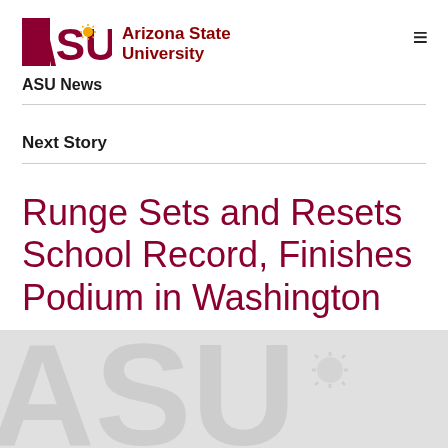[Figure (logo): Arizona State University logo with ASU text in maroon and gold and wordmark 'Arizona State University']
ASU News
Next Story
Runge Sets and Resets School Record, Finishes Podium in Washington
[Figure (photo): Large light gray ASU logo watermark image used as article thumbnail background]